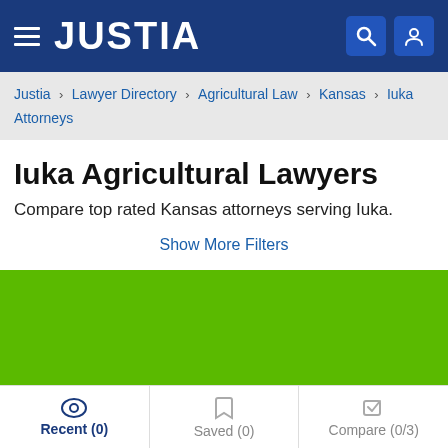JUSTIA
Justia > Lawyer Directory > Agricultural Law > Kansas > Iuka Attorneys
Iuka Agricultural Lawyers
Compare top rated Kansas attorneys serving Iuka.
Show More Filters
[Figure (map): Green map area showing Iuka, Kansas region]
Recent (0)  Saved (0)  Compare (0/3)